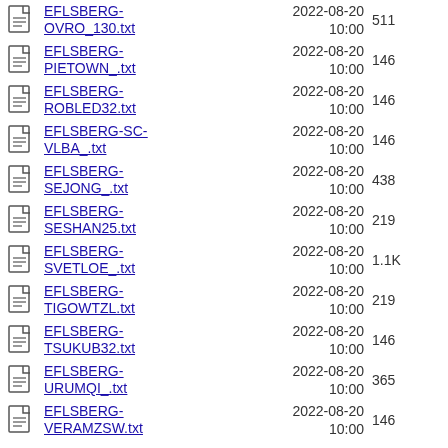EFLSBERG-OVRO_130.txt  2022-08-20 10:00  511
EFLSBERG-PIETOWN_.txt  2022-08-20 10:00  146
EFLSBERG-ROBLED32.txt  2022-08-20 10:00  146
EFLSBERG-SC-VLBA_.txt  2022-08-20 10:00  146
EFLSBERG-SEJONG_.txt  2022-08-20 10:00  438
EFLSBERG-SESHAN25.txt  2022-08-20 10:00  219
EFLSBERG-SVETLOE_.txt  2022-08-20 10:00  1.1K
EFLSBERG-TIGOWTZL.txt  2022-08-20 10:00  219
EFLSBERG-TSUKUB32.txt  2022-08-20 10:00  146
EFLSBERG-URUMQI_.txt  2022-08-20 10:00  365
EFLSBERG-VERAMZSW.txt  2022-08-20 10:00  146